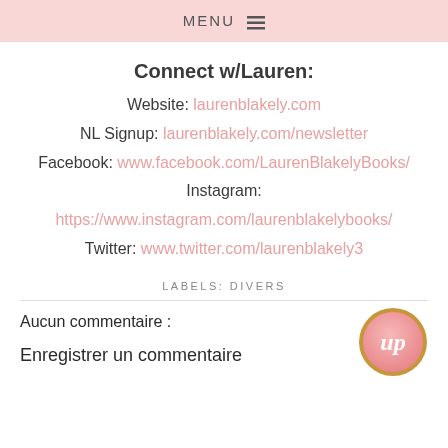MENU ☰
Connect w/Lauren:
Website: laurenblakely.com
NL Signup: laurenblakely.com/newsletter
Facebook: www.facebook.com/LaurenBlakelyBooks/
Instagram: https://www.instagram.com/laurenblakelybooks/
Twitter: www.twitter.com/laurenblakely3
LABELS: DIVERS
Aucun commentaire :
Enregistrer un commentaire
[Figure (logo): Round pink gradient logo with cursive 'up' letters, gold border]